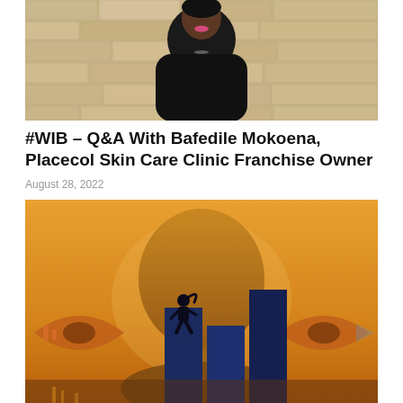[Figure (photo): A woman wearing a black top smiling in front of a stone brick wall background]
#WIB – Q&A With Bafedile Mokoena, Placecol Skin Care Clinic Franchise Owner
August 28, 2022
[Figure (illustration): An artistic illustration with a golden/amber background showing a silhouette of a person standing on dark blue bar chart columns, with a large human head silhouette in the background and decorative eye shapes on the sides]